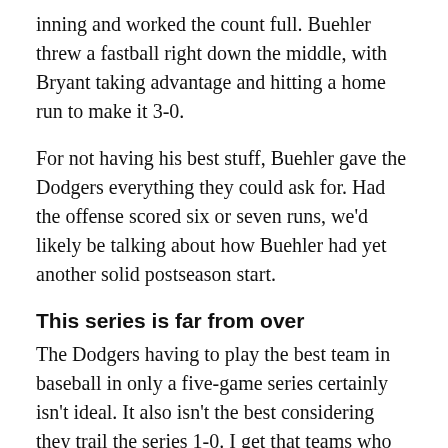inning and worked the count full. Buehler threw a fastball right down the middle, with Bryant taking advantage and hitting a home run to make it 3-0.
For not having his best stuff, Buehler gave the Dodgers everything they could ask for. Had the offense scored six or seven runs, we'd likely be talking about how Buehler had yet another solid postseason start.
This series is far from over
The Dodgers having to play the best team in baseball in only a five-game series certainly isn't ideal. It also isn't the best considering they trail the series 1-0. I get that teams who win the first game in a best-of-5 series go on to win about 75% of the time, but that means nothing.